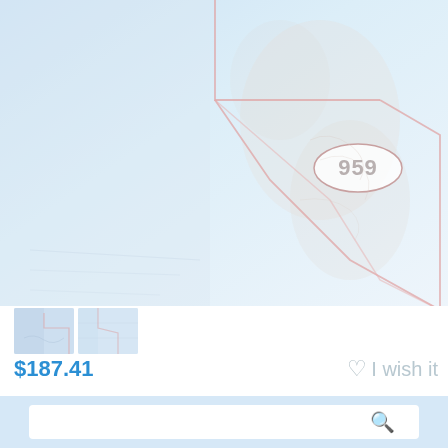[Figure (map): A faded/light nautical or topographic map showing a coastal region with pink/red boundary lines outlining what appears to be a geographic area. A region label '959' is shown in an oval near the upper right portion of the map. The background is light blue/white suggesting water and land terrain.]
[Figure (photo): Two small thumbnail images of the same or related map/chart product shown below the main map image.]
$187.41
I wish it